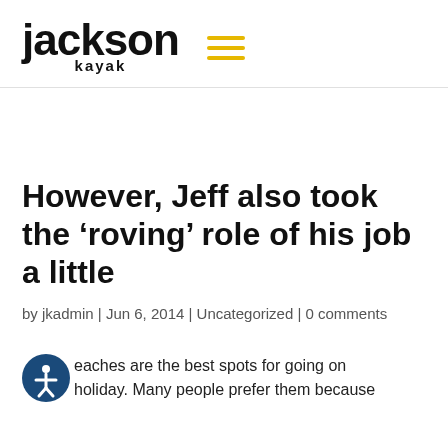Jackson Kayak
However, Jeff also took the ‘roving’ role of his job a little
by jkadmin | Jun 6, 2014 | Uncategorized | 0 comments
eaches are the best spots for going on holiday. Many people prefer them because